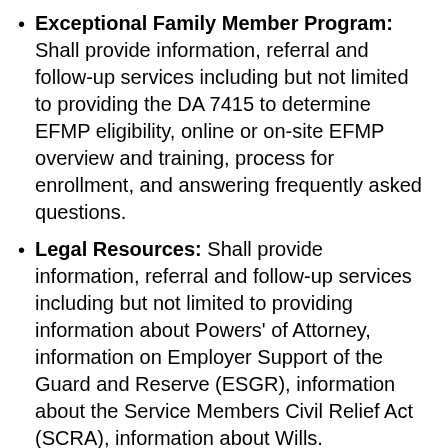Exceptional Family Member Program: Shall provide information, referral and follow-up services including but not limited to providing the DA 7415 to determine EFMP eligibility, online or on-site EFMP overview and training, process for enrollment, and answering frequently asked questions.
Legal Resources: Shall provide information, referral and follow-up services including but not limited to providing information about Powers' of Attorney, information on Employer Support of the Guard and Reserve (ESGR), information about the Service Members Civil Relief Act (SCRA), information about Wills.
Emergency Family Assistance Center: In the event of a local or national emergency the FAC will be available to receive calls for assistance as well as record any changed in location or telephone numbers in the event of an evacuation, thus making